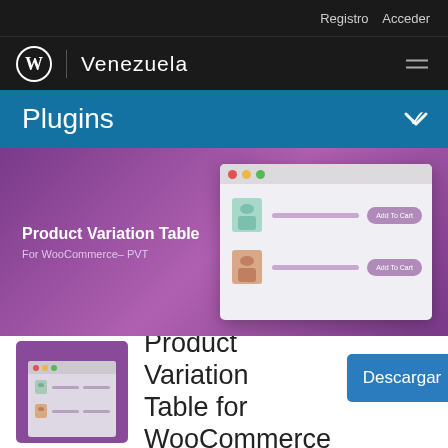Registro   Acceder
[Figure (logo): WordPress logo with Venezuela text and hamburger menu on dark nav bar]
Plugins
[Figure (screenshot): Purple hero banner for Product Variation Table For WooCommerce - PVT plugin, with a mock browser screenshot showing two product rows with Add To Cart buttons]
Product Variation Table for WooCommerce
[Figure (illustration): Plugin icon: purple square with mini browser screenshot of product variation table]
Descargar